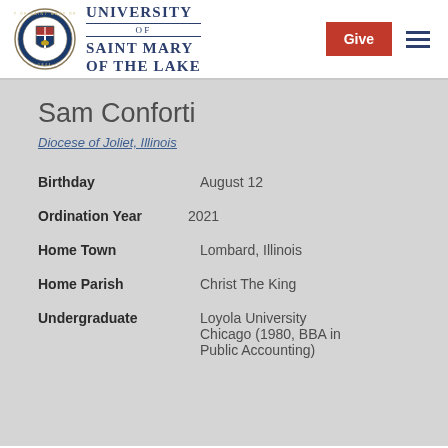University of Saint Mary of the Lake — Give | Navigation
Sam Conforti
Diocese of Joliet, Illinois
| Field | Value |
| --- | --- |
| Birthday | August 12 |
| Ordination Year | 2021 |
| Home Town | Lombard, Illinois |
| Home Parish | Christ The King |
| Undergraduate | Loyola University Chicago (1980, BBA in Public Accounting) |